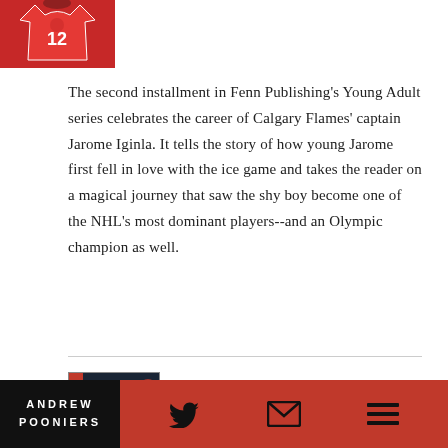[Figure (photo): Photo of a hockey player wearing a red Canada jersey with number 12]
The second installment in Fenn Publishing's Young Adult series celebrates the career of Calgary Flames' captain Jarome Iginla. It tells the story of how young Jarome first fell in love with the ice game and takes the reader on a magical journey that saw the shy boy become one of the NHL's most dominant players--and an Olympic champion as well.
[Figure (photo): Cover of IIHF World Championship Official Media Guide 2006, showing trophy being lifted]
IIHF World Championship Official Media Guide 2006
IIHF, 2006
ANDREW POONIERS [logo] [twitter icon] [email icon] [menu icon]